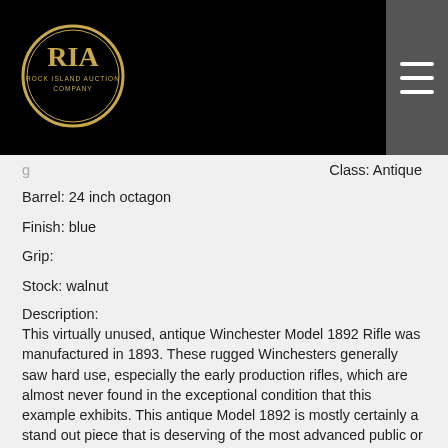[Figure (logo): Rock Island Auction Company oval logo in gold on black background]
Class: Antique
Barrel: 24 inch octagon
Finish: blue
Grip:
Stock: walnut
Description:
This virtually unused, antique Winchester Model 1892 Rifle was manufactured in 1893. These rugged Winchesters generally saw hard use, especially the early production rifles, which are almost never found in the exceptional condition that this example exhibits. This antique Model 1892 is mostly certainly a stand out piece that is deserving of the most advanced public or private collections.